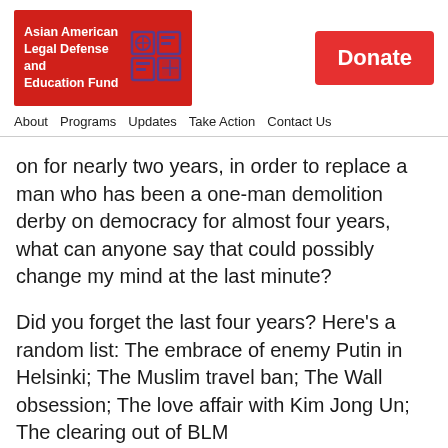[Figure (logo): Asian American Legal Defense and Education Fund logo with red background and globe icon]
[Figure (other): Red Donate button]
About  Programs  Updates  Take Action  Contact Us
on for nearly two years, in order to replace a man who has been a one-man demolition derby on democracy for almost four years, what can anyone say that could possibly change my mind at the last minute?
Did you forget the last four years? Here's a random list: The embrace of enemy Putin in Helsinki; The Muslim travel ban; The Wall obsession; The love affair with Kim Jong Un; The clearing out of BLM